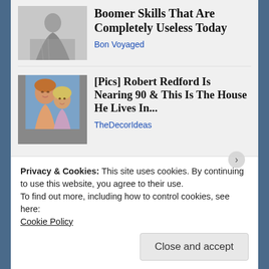[Figure (photo): Black and white photo of a woman in a floral dress, appearing to be in a kitchen or laundry setting]
Boomer Skills That Are Completely Useless Today
Bon Voyaged
[Figure (photo): Color photo of an older man with reddish-brown hair smiling with a blonde woman, blue background]
[Pics] Robert Redford Is Nearing 90 & This Is The House He Lives In...
TheDecorIdeas
Posted in
Uncategorized
Leave a comment
Privacy & Cookies: This site uses cookies. By continuing to use this website, you agree to their use.
To find out more, including how to control cookies, see here:
Cookie Policy
Close and accept